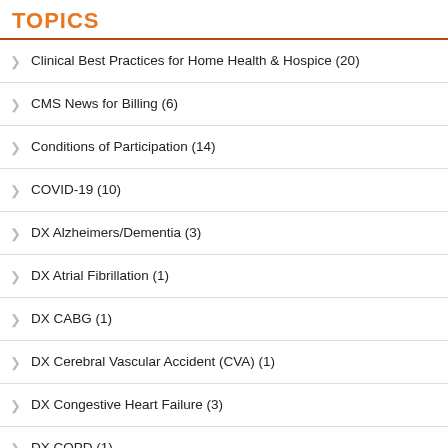TOPICS
Clinical Best Practices for Home Health & Hospice (20)
CMS News for Billing (6)
Conditions of Participation (14)
COVID-19 (10)
DX Alzheimers/Dementia (3)
DX Atrial Fibrillation (1)
DX CABG (1)
DX Cerebral Vascular Accident (CVA) (1)
DX Congestive Heart Failure (3)
DX COPD (1)
DX Diabetes (3)